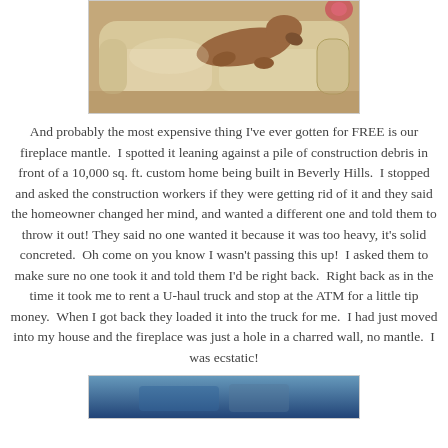[Figure (photo): A dog resting on a beige upholstered sofa/chair]
And probably the most expensive thing I've ever gotten for FREE is our fireplace mantle.  I spotted it leaning against a pile of construction debris in front of a 10,000 sq. ft. custom home being built in Beverly Hills.  I stopped and asked the construction workers if they were getting rid of it and they said the homeowner changed her mind, and wanted a different one and told them to throw it out! They said no one wanted it because it was too heavy, it's solid concreted.  Oh come on you know I wasn't passing this up!  I asked them to make sure no one took it and told them I'd be right back.  Right back as in the time it took me to rent a U-haul truck and stop at the ATM for a little tip money.  When I got back they loaded it into the truck for me.  I had just moved into my house and the fireplace was just a hole in a charred wall, no mantle.  I was ecstatic!
[Figure (photo): Partial photo at bottom of page, appears to show interior scene]